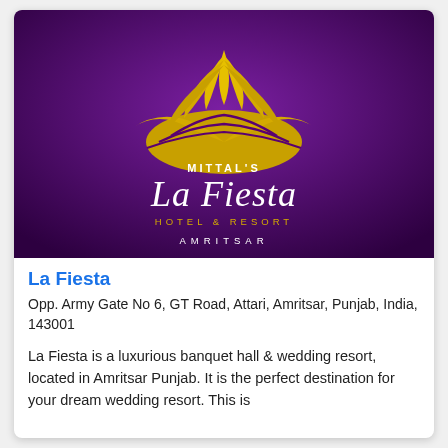[Figure (logo): Mittal's La Fiesta Hotel & Resort Amritsar logo on deep purple background with gold turban-shaped emblem]
La Fiesta
Opp. Army Gate No 6, GT Road, Attari, Amritsar, Punjab, India, 143001
La Fiesta is a luxurious banquet hall & wedding resort, located in Amritsar Punjab. It is the perfect destination for your dream wedding resort. This is